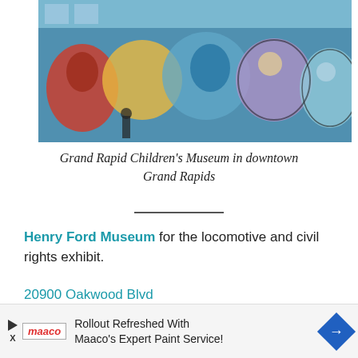[Figure (photo): Colorful mosaic mural covering exterior wall of Grand Rapids Children's Museum in downtown Grand Rapids]
Grand Rapid Children's Museum in downtown Grand Rapids
Henry Ford Museum for the locomotive and civil rights exhibit.
20900 Oakwood Blvd
Dearborn, MI 48124
[Figure (photo): Partial photo of what appears to be Henry Ford Museum interior/exterior with a 'Demand' sign visible]
Rollout Refreshed With Maaco's Expert Paint Service!